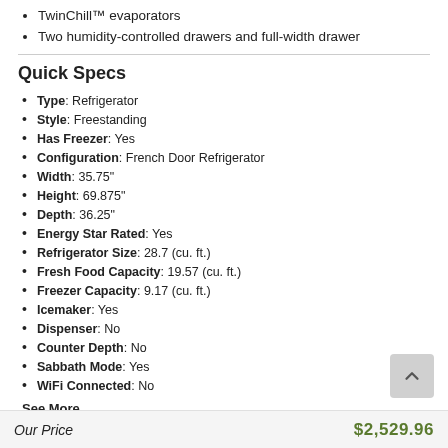TwinChill™ evaporators
Two humidity-controlled drawers and full-width drawer
Quick Specs
Type: Refrigerator
Style: Freestanding
Has Freezer: Yes
Configuration: French Door Refrigerator
Width: 35.75"
Height: 69.875"
Depth: 36.25"
Energy Star Rated: Yes
Refrigerator Size: 28.7 (cu. ft.)
Fresh Food Capacity: 19.57 (cu. ft.)
Freezer Capacity: 9.17 (cu. ft.)
Icemaker: Yes
Dispenser: No
Counter Depth: No
Sabbath Mode: Yes
WiFi Connected: No
See More
Our Price $2,529.96